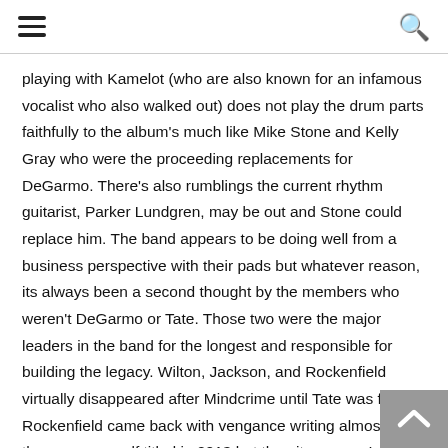☰ [menu icon] | [search icon]
playing with Kamelot (who are also known for an infamous vocalist who also walked out) does not play the drum parts faithfully to the album's much like Mike Stone and Kelly Gray who were the proceeding replacements for DeGarmo. There's also rumblings the current rhythm guitarist, Parker Lundgren, may be out and Stone could replace him. The band appears to be doing well from a business perspective with their pads but whatever reason, its always been a second thought by the members who weren't DeGarmo or Tate. Those two were the major leaders in the band for the longest and responsible for building the legacy. Wilton, Jackson, and Rockenfield virtually disappeared after Mindcrime until Tate was fired. Rockenfield came back with vengance writing almost all the songs on self titled in 2013 but then it appears Latorre has pushed him out and replaced him with buddy Gorillo. Latorre then took it upon himself to play all the drum parts on The